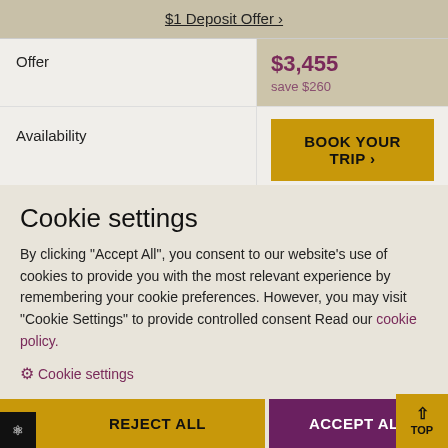$1 Deposit Offer ›
|  |  |
| --- | --- |
| Offer | $3,455
save $260 |
| Availability | BOOK YOUR TRIP › |
Cookie settings
By clicking "Accept All", you consent to our website's use of cookies to provide you with the most relevant experience by remembering your cookie preferences. However, you may visit "Cookie Settings" to provide controlled consent Read our cookie policy.
⚙ Cookie settings
REJECT ALL   ACCEPT ALL